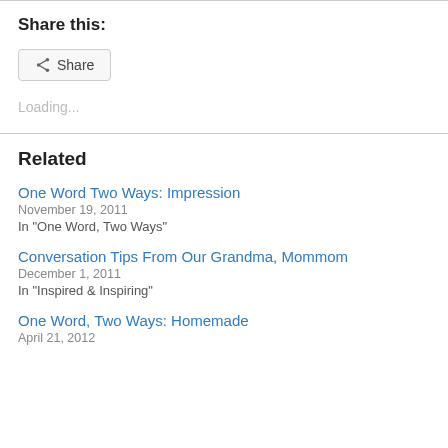Share this:
[Figure (other): Share button with share icon]
Loading...
Related
One Word Two Ways: Impression
November 19, 2011
In "One Word, Two Ways"
Conversation Tips From Our Grandma, Mommom
December 1, 2011
In "Inspired & Inspiring"
One Word, Two Ways: Homemade
April 21, 2012